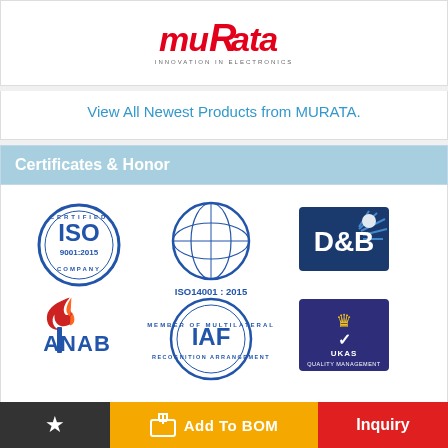[Figure (logo): Murata logo with red stylized wordmark and tagline INNOVATION IN ELECTRONICS]
View All Newest Products from MURATA.
Certificates & Honor
[Figure (infographic): Six certification logos: ISO 9001:2015, ISO 14001:2015, D&B, ANAB, IAF, UKAS Quality Management]
[Figure (illustration): Internet of Things banner with teal background]
Add To BOM
Inquiry